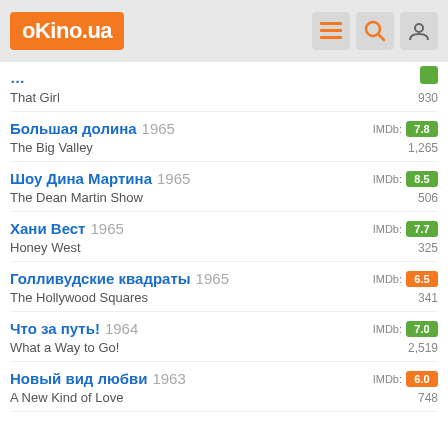oKino.ua
That Girl | 930
Большая долина 1965 | The Big Valley | IMDb: 7.8 | 1,265
Шоу Дина Мартина 1965 | The Dean Martin Show | IMDb: 8.5 | 506
Хани Вест 1965 | Honey West | IMDb: 7.7 | 325
Голливудские квадраты 1965 | The Hollywood Squares | IMDb: 6.5 | 341
Что за путь! 1964 | What a Way to Go! | IMDb: 7.0 | 2,519
Новый вид любви 1963 | A New Kind of Love | IMDb: 6.0 | 748